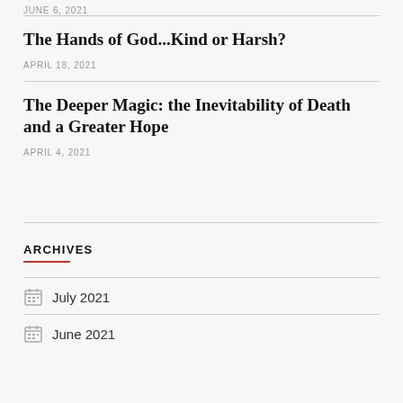JUNE 6, 2021
The Hands of God...Kind or Harsh?
APRIL 18, 2021
The Deeper Magic: the Inevitability of Death and a Greater Hope
APRIL 4, 2021
ARCHIVES
July 2021
June 2021